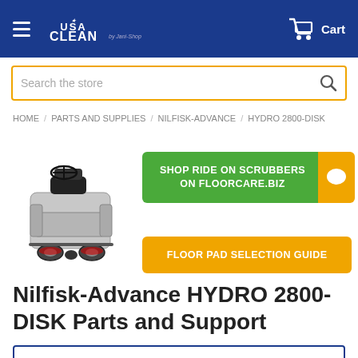USA CLEAN by Jani-Shop — Cart
Search the store
HOME / PARTS AND SUPPLIES / NILFISK-ADVANCE / HYDRO 2800-DISK
[Figure (photo): Nilfisk-Advance HYDRO 2800-DISK ride-on floor scrubber machine, gray color with black seat and steering wheel]
SHOP RIDE ON SCRUBBERS ON FLOORCARE.BIZ
FLOOR PAD SELECTION GUIDE
Nilfisk-Advance HYDRO 2800-DISK Parts and Support